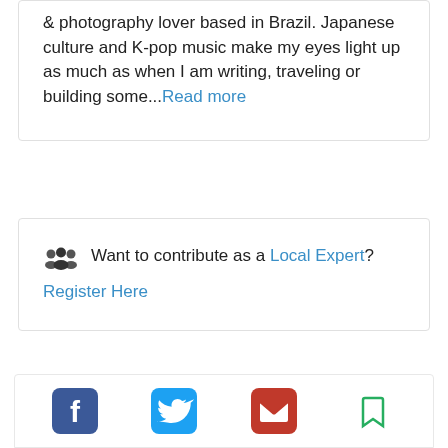& photography lover based in Brazil. Japanese culture and K-pop music make my eyes light up as much as when I am writing, traveling or building some...Read more
Want to contribute as a Local Expert? Register Here
[Figure (infographic): Social sharing icons: Facebook (blue square with white f), Twitter (blue circle with white bird), Email (red envelope), Bookmark (green bookmark outline)]